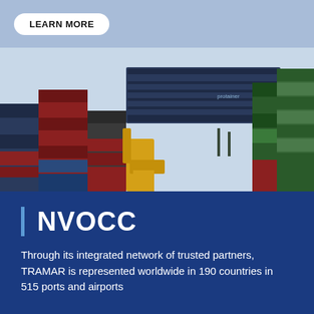LEARN MORE
[Figure (photo): A yellow forklift/reach stacker lifting a large dark blue shipping container at a container yard, surrounded by stacks of colorful shipping containers (red, blue, green, grey) against a light sky background.]
NVOCC
Through its integrated network of trusted partners, TRAMAR is represented worldwide in 190 countries in 515 ports and airports